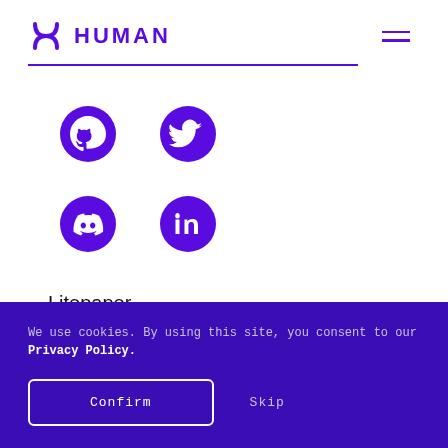HUMAN
[Figure (logo): HUMAN Protocol logo with stylized H icon in purple and HUMAN text]
[Figure (infographic): Four social media icons in purple: GitHub, Twitter, Discord, LinkedIn arranged in 2x2 grid]
Litepaper
We use cookies. By using this site, you consent to our Privacy Policy.
Confirm
Skip